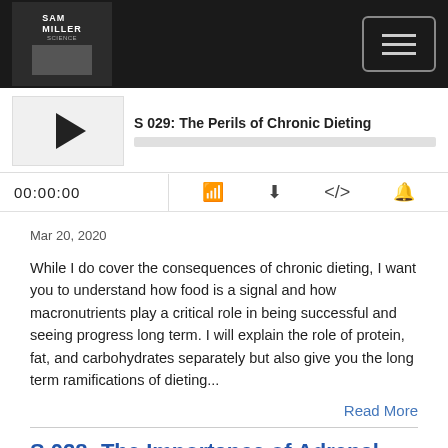[Figure (screenshot): Sam Miller Science podcast logo in dark header bar with hamburger menu button]
S 029: The Perils of Chronic Dieting
00:00:00
Mar 20, 2020
While I do cover the consequences of chronic dieting, I want you to understand how food is a signal and how macronutrients play a critical role in being successful and seeing progress long term. I will explain the role of protein, fat, and carbohydrates separately but also give you the long term ramifications of dieting...
Read More
S 028: The Importance of Adrenal Health
SAM MILLER SCIENCE